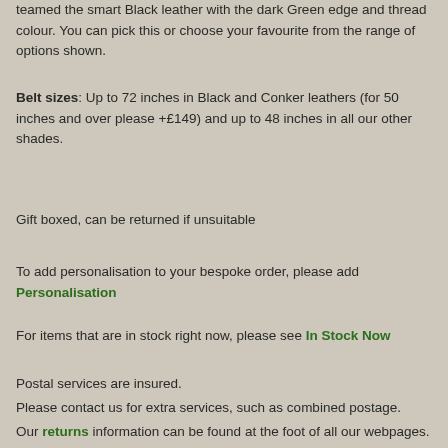teamed the smart Black leather with the dark Green edge and thread colour. You can pick this or choose your favourite from the range of options shown.
Belt sizes: Up to 72 inches in Black and Conker leathers (for 50 inches and over please +£149) and up to 48 inches in all our other shades.
Gift boxed, can be returned if unsuitable
To add personalisation to your bespoke order, please add Personalisation
For items that are in stock right now, please see In Stock Now
Postal services are insured.
Please contact us for extra services, such as combined postage.
Our returns information can be found at the foot of all our webpages.